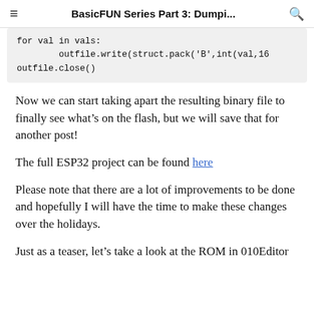BasicFUN Series Part 3: Dumpi...
for val in vals:
        outfile.write(struct.pack('B',int(val,16
outfile.close()
Now we can start taking apart the resulting binary file to finally see what’s on the flash, but we will save that for another post!
The full ESP32 project can be found here
Please note that there are a lot of improvements to be done and hopefully I will have the time to make these changes over the holidays.
Just as a teaser, let’s take a look at the ROM in 010Editor